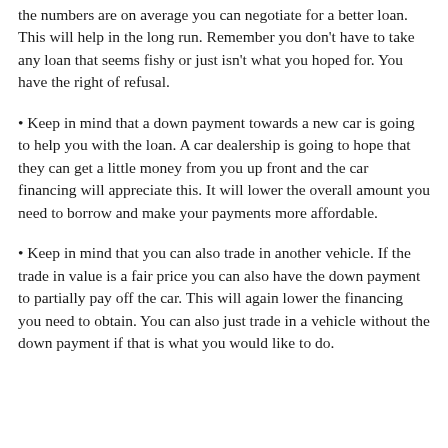the numbers are on average you can negotiate for a better loan. This will help in the long run. Remember you don't have to take any loan that seems fishy or just isn't what you hoped for. You have the right of refusal.
Keep in mind that a down payment towards a new car is going to help you with the loan. A car dealership is going to hope that they can get a little money from you up front and the car financing will appreciate this. It will lower the overall amount you need to borrow and make your payments more affordable.
Keep in mind that you can also trade in another vehicle. If the trade in value is a fair price you can also have the down payment to partially pay off the car. This will again lower the financing you need to obtain. You can also just trade in a vehicle without the down payment if that is what you would like to do.